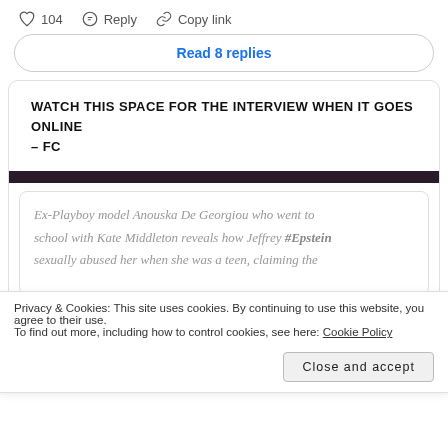♡ 104   Reply   Copy link
Read 8 replies
WATCH THIS SPACE FOR THE INTERVIEW WHEN IT GOES ONLINE – FC
[Figure (screenshot): Dark banner/divider image strip]
Ex-Playboy model Anouska De Georgiou who went to school with Kate Middleton reveals how Jeffrey #Epstein sexually abused her when she was a teen, claiming the
Privacy & Cookies: This site uses cookies. By continuing to use this website, you agree to their use.
To find out more, including how to control cookies, see here: Cookie Policy
[Close and accept]